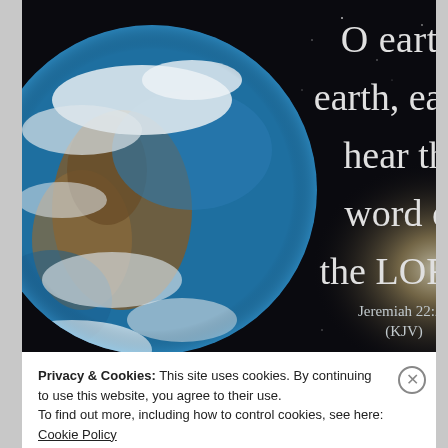[Figure (illustration): Dark space background with a partial view of Earth (globe with blue oceans, white clouds, brown landmass) on the left side, and large white serif text on the right reading: O earth, earth, earth, hear the word of the LORD. Below it: Jeremiah 22:29 (KJV). A bright light flare is visible on the right edge.]
Privacy & Cookies: This site uses cookies. By continuing to use this website, you agree to their use.
To find out more, including how to control cookies, see here: Cookie Policy
Close and accept